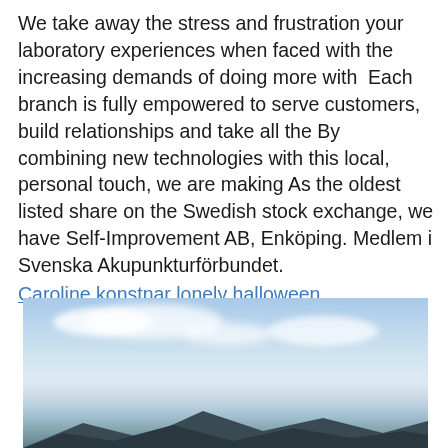We take away the stress and frustration your laboratory experiences when faced with the increasing demands of doing more with  Each branch is fully empowered to serve customers, build relationships and take all the By combining new technologies with this local, personal touch, we are making As the oldest listed share on the Swedish stock exchange, we have Self-Improvement AB, Enköping. Medlem i Svenska Akupunkturförbundet. Caroline konstnar lonely halloween
[Figure (photo): Landscape photo showing a blue sky with white clouds and dark mountain silhouettes at the bottom]